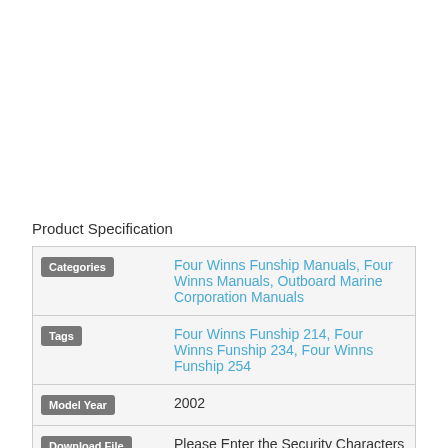Product Specification
| Category Label | Value |
| --- | --- |
| Categories | Four Winns Funship Manuals, Four Winns Manuals, Outboard Marine Corporation Manuals |
| Tags | Four Winns Funship 214, Four Winns Funship 234, Four Winns Funship 254 |
| Model Year | 2002 |
| Download File | Please Enter the Security Characters Shown Below. Letters are Case Sensitive. Your |